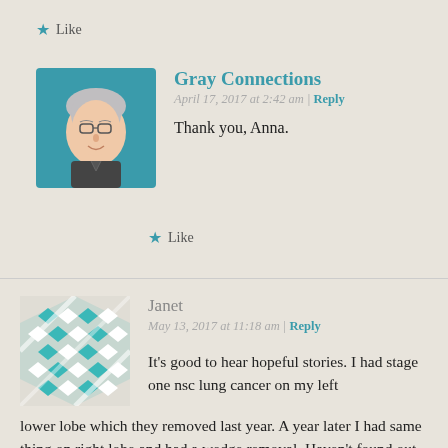★ Like
[Figure (illustration): Avatar illustration of Gray Connections — a cartoon-style older woman with short gray hair and glasses on a blue background]
Gray Connections
April 17, 2017 at 2:42 am | Reply
Thank you, Anna.
★ Like
[Figure (illustration): Avatar illustration of Janet — a geometric teal and white diamond pattern square avatar]
Janet
May 13, 2017 at 11:18 am | Reply
It's good to hear hopeful stories. I had stage one nsc lung cancer on my left lower lobe which they removed last year. A year later I had same thing on right lobe and had a wedge removal. Haven't found out yet if it was spread or they it's possibly another prime cancer